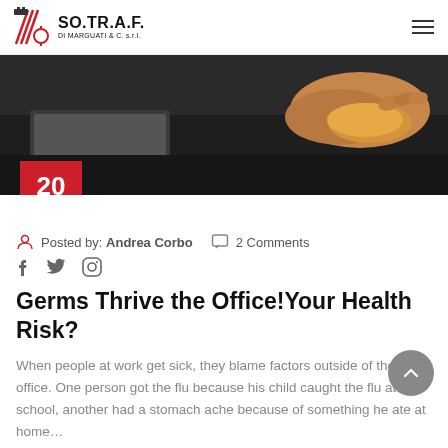SO.TR.A.F. DI MARGUATI & C. s.r.l.
[Figure (photo): Close-up photo of a hand cleaning a dark office desk surface with a yellow cloth, with a laptop in the background]
20 Ago
Posted by: Andrea Corbo  2 Comments
Germs Thrive the Office!Your Health Risk?
When people at work get sick, they blame factors outside of the office. One person got the flu because his child caught the flu at school, another had a stomach ache because of something he ate at home…